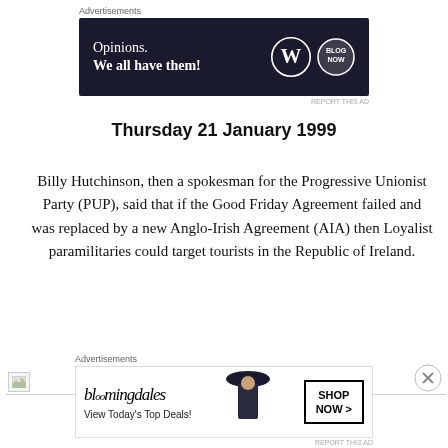Advertisements
[Figure (screenshot): Advertisement banner for WordPress/Blog Now with dark navy background, text 'Opinions. We all have them!' with WordPress and Blog Now logos on right.]
Thursday 21 January 1999
Billy Hutchinson, then a spokesman for the Progressive Unionist Party (PUP), said that if the Good Friday Agreement failed and was replaced by a new Anglo-Irish Agreement (AIA) then Loyalist paramilitaries could target tourists in the Republic of Ireland.
[Figure (other): Broken image placeholder with small icon at left edge]
Advertisements
[Figure (screenshot): Bloomingdale's advertisement banner: bloomingdales logo, 'View Today's Top Deals!' text, woman with large hat, 'SHOP NOW >' button]